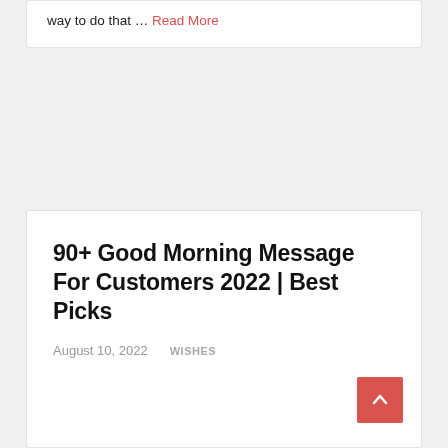way to do that … Read More
90+ Good Morning Message For Customers 2022 | Best Picks
August 10, 2022    WISHES